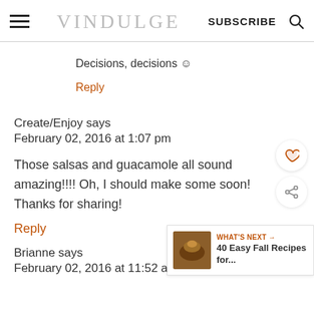VINDULGE | SUBSCRIBE
Decisions, decisions ☺
Reply
Create/Enjoy says
February 02, 2016 at 1:07 pm
Those salsas and guacamole all sound amazing!!!! Oh, I should make some soon! Thanks for sharing!
Reply
Brianne says
February 02, 2016 at 11:52 am
[Figure (other): What's Next widget showing 40 Easy Fall Recipes for...]